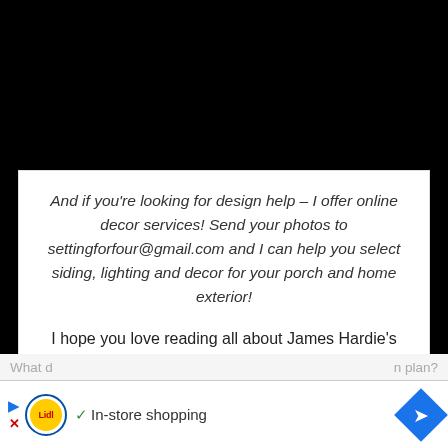[Figure (photo): Black rectangle occupying the top portion of the page, representing a photo/image area]
And if you're looking for design help – I offer online decor services! Send your photos to settingforfour@gmail.com and I can help you select siding, lighting and decor for your porch and home exterior!
I hope you love reading all about James Hardie's gorgeous siding and my 12 Amazing Curb Appeal Design Elements  & Porch Decor Tips!
[Figure (other): Lidl advertisement banner with play/close buttons, Lidl logo, checkmark and 'In-store shopping' text, and blue navigation arrow icon]